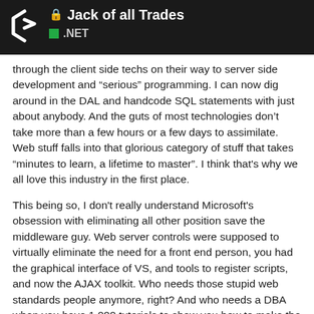Jack of all Trades / .NET
through the client side techs on their way to server side development and “serious” programming. I can now dig around in the DAL and handcode SQL statements with just about anybody. And the guts of most technologies don’t take more than a few hours or a few days to assimilate. Web stuff falls into that glorious category of stuff that takes “minutes to learn, a lifetime to master”. I think that's why we all love this industry in the first place.
This being so, I don't really understand Microsoft's obsession with eliminating all other position save the middleware guy. Web server controls were supposed to virtually eliminate the need for a front end person, you had the graphical interface of VS, and tools to register scripts, and now the AJAX toolkit. Who needs those stupid web standards people anymore, right? And who needs a DBA when you have 1,000 tutorials to show you how to make the most of that SqlDataSource. In their continuing attempts to eliminate DBAs and DAL progr... treated to Linq and now EF. There are diffe...